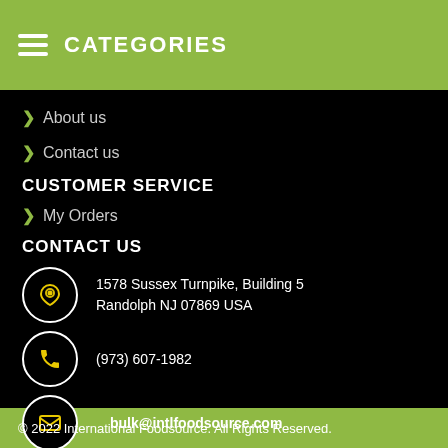CATEGORIES
About us
Contact us
CUSTOMER SERVICE
My Orders
CONTACT US
1578 Sussex Turnpike, Building 5
Randolph NJ 07869 USA
(973) 607-1982
bulk@intlfoodsource.com
© 2022 International Foodsource. All Rights Reserved.